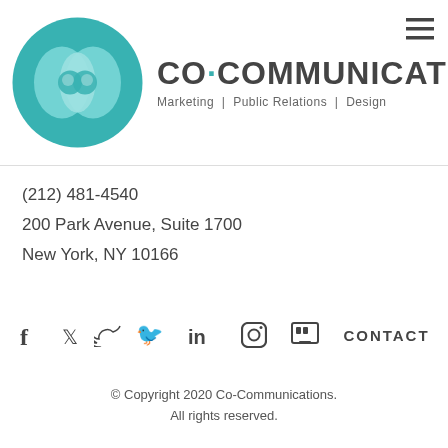[Figure (logo): Co-Communications logo: teal circle with overlapping lens shapes, brand name CO·COMMUNICATIONS, tagline Marketing | Public Relations | Design]
(212) 481-4540
200 Park Avenue, Suite 1700
New York, NY 10166
[Figure (infographic): Social media icons row: Facebook (f), Twitter (bird), LinkedIn (in), Instagram (camera), Slideshare/Houzz (grid icon), and CONTACT text link]
© Copyright 2020 Co-Communications. All rights reserved.